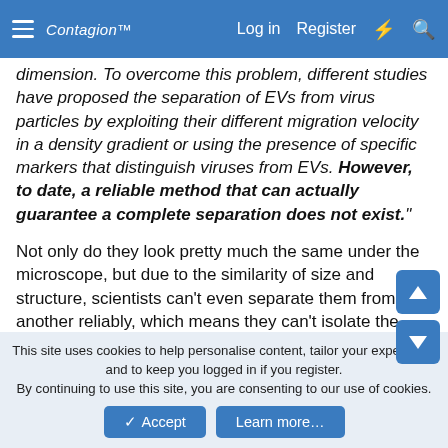Contagion [logo] | Log in | Register
dimension. To overcome this problem, different studies have proposed the separation of EVs from virus particles by exploiting their different migration velocity in a density gradient or using the presence of specific markers that distinguish viruses from EVs. However, to date, a reliable method that can actually guarantee a complete separation does not exist."
Not only do they look pretty much the same under the microscope, but due to the similarity of size and structure, scientists can't even separate them from one another reliably, which means they can't isolate the virus even if they tried (which they don't) as long as exosomes are present. And exosomes are always present because the antibiotics
This site uses cookies to help personalise content, tailor your experience and to keep you logged in if you register.
By continuing to use this site, you are consenting to our use of cookies.